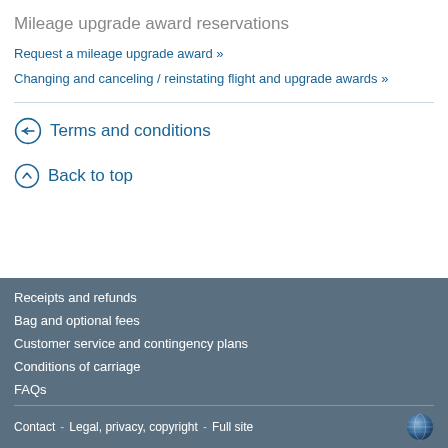Mileage upgrade award reservations
Request a mileage upgrade award »
Changing and canceling / reinstating flight and upgrade awards »
Terms and conditions
Back to top
Receipts and refunds
Bag and optional fees
Customer service and contingency plans
Conditions of carriage
FAQs
Contact  -  Legal, privacy, copyright  -  Full site